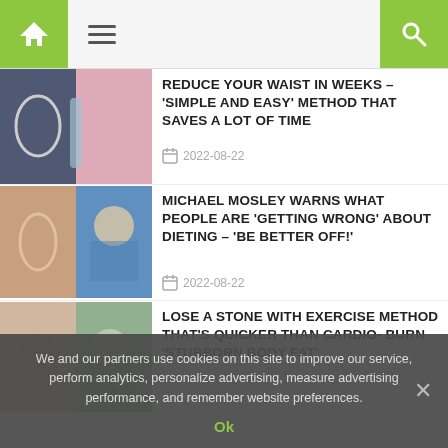Navigation bar with home icon, menu icon, and search icon
REDUCE YOUR WAIST IN WEEKS – 'SIMPLE AND EASY' METHOD THAT SAVES A LOT OF TIME
2022-08-22
MICHAEL MOSLEY WARNS WHAT PEOPLE ARE 'GETTING WRONG' ABOUT DIETING – 'BE BETTER OFF!'
2022-08-22
LOSE A STONE WITH EXERCISE METHOD THAT'S QUICKER THAN CARDIO- BURN 'STUBBORN BODY FAT'
We and our partners use cookies on this site to improve our service, perform analytics, personalize advertising, measure advertising performance, and remember website preferences.
Ok